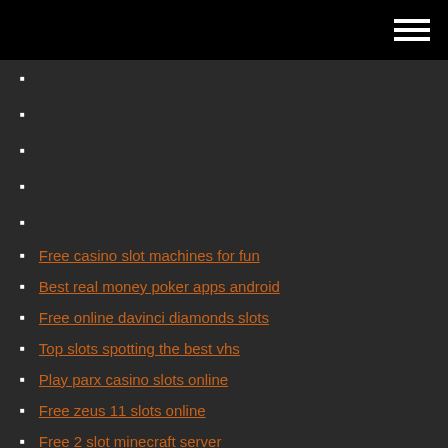Free casino slot machines for fun
Best real money poker apps android
Free online davinci diamonds slots
Top slots spotting the best vhs
Play parx casino slots online
Free zeus 11 slots online
Free 2 slot minecraft server
Hopa slots notification of payment received
University of ottawa poker 101